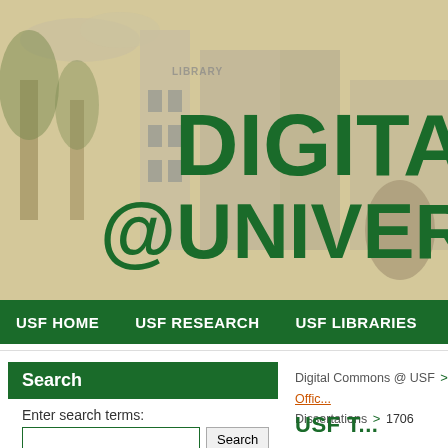[Figure (screenshot): Hero banner with sepia-toned USF Library building photo and large green text reading DIGITAL @UNIVERSITY]
USF HOME   USF RESEARCH   USF LIBRARIES
Search
Enter search terms:
Digital Commons @ USF > Offi... > Dissertations > 1706
USF T...